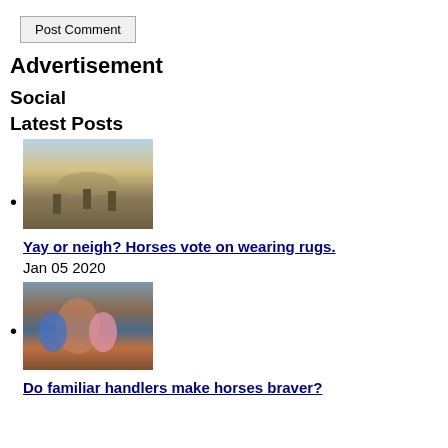Post Comment
Advertisement
Social
Latest Posts
[Figure (photo): Horses in a field at sunset/dusk landscape]
Yay or neigh? Horses vote on wearing rugs. — Jan 05 2020
[Figure (photo): Two people with a horse, one in blue and one in pink]
Do familiar handlers make horses braver?